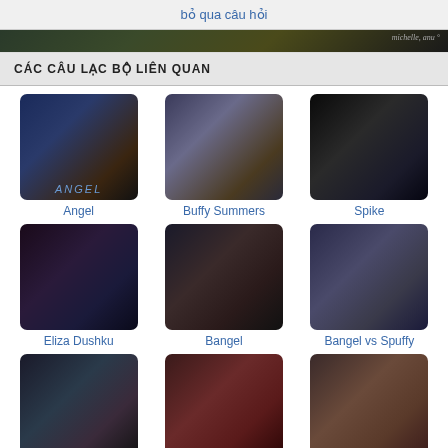bỏ qua câu hỏi
[Figure (photo): Dark banner image with group of characters from TV show]
CÁC CÂU LẠC BỘ LIÊN QUAN
[Figure (photo): Angel club thumbnail]
Angel
[Figure (photo): Buffy Summers club thumbnail]
Buffy Summers
[Figure (photo): Spike club thumbnail]
Spike
[Figure (photo): Eliza Dushku club thumbnail]
Eliza Dushku
[Figure (photo): Bangel club thumbnail]
Bangel
[Figure (photo): Bangel vs Spuffy club thumbnail]
Bangel vs Spuffy
[Figure (photo): Buffy vs Faith club thumbnail]
Buffy vs Faith
[Figure (photo): Charisma Carpenter club thumbnail]
Charisma Carpenter
[Figure (photo): Willow & Oz club thumbnail]
Willow & Oz
thêm các câu lạc bộ >>
[Figure (photo): Bottom banner with group of characters from TV show Buffy]